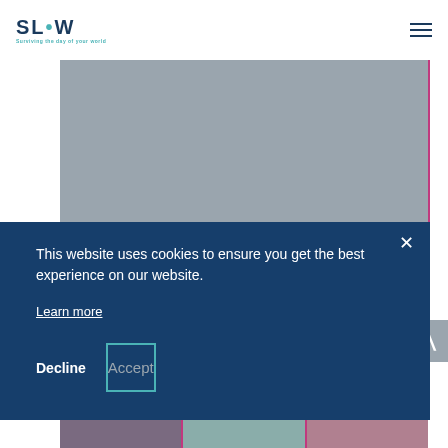[Figure (logo): SLOW logo with tagline 'Surviving the day of your world' in teal and navy]
[Figure (screenshot): Website screenshot showing a grey image panel with pink side borders, SLOW logo in white, @slowgroup text, and a bottom strip with food images]
This website uses cookies to ensure you get the best experience on our website.
Learn more
Decline
Accept